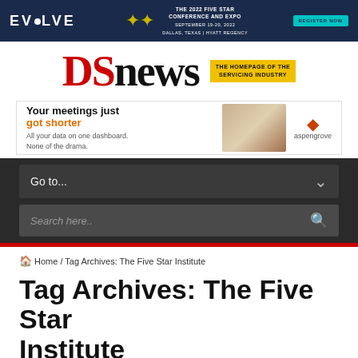[Figure (infographic): EVOLVE banner: The 2022 Five Star Conference and Expo, September 19-20, 2022, Dallas, Texas, Hyatt Regency. Register Now button.]
[Figure (logo): DS News logo - DS in red serif font, news in black serif font, with yellow tagline box reading THE HOMEPAGE OF THE SERVICING INDUSTRY]
[Figure (infographic): Aspengrove advertisement: Your meetings just got shorter. All your data on one dashboard. None of the drama. Shows office image and aspengrove logo.]
Go to...
Search here..
Home / Tag Archives: The Five Star Institute
Tag Archives: The Five Star Institute